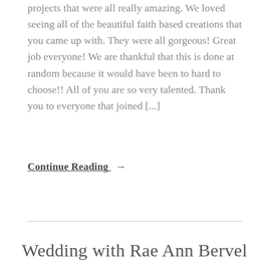projects that were all really amazing. We loved seeing all of the beautiful faith based creations that you came up with. They were all gorgeous! Great job everyone! We are thankful that this is done at random because it would have been to hard to choose!! All of you are so very talented. Thank you to everyone that joined [...]
Continue Reading →
Wedding with Rae Ann Bervel